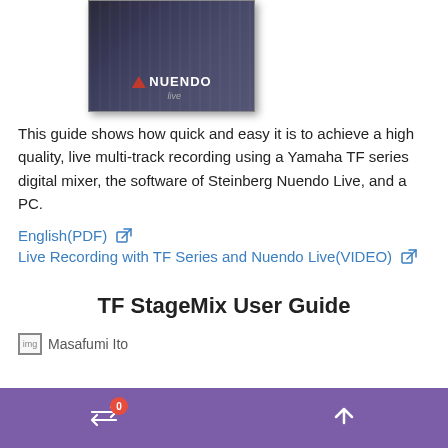[Figure (photo): Book cover image of Nuendo Live recording guide, showing a dark-themed mixer/console surface with the Nuendo Live logo]
This guide shows how quick and easy it is to achieve a high quality, live multi-track recording using a Yamaha TF series digital mixer, the software of Steinberg Nuendo Live, and a PC.
English(PDF) [external link]
Live Recording with TF Series and Nuendo Live(VIDEO) [external link]
TF StageMix User Guide
[Figure (photo): Broken/loading image placeholder labeled 'Masafumi Ito']